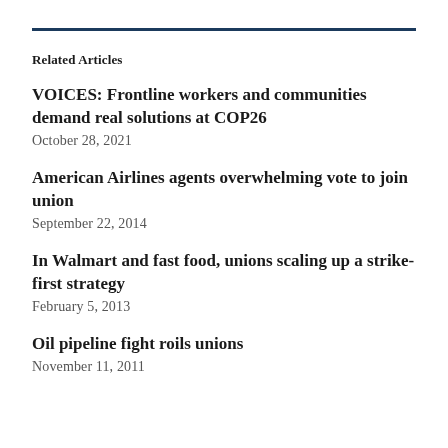Related Articles
VOICES: Frontline workers and communities demand real solutions at COP26
October 28, 2021
American Airlines agents overwhelming vote to join union
September 22, 2014
In Walmart and fast food, unions scaling up a strike-first strategy
February 5, 2013
Oil pipeline fight roils unions
November 11, 2011